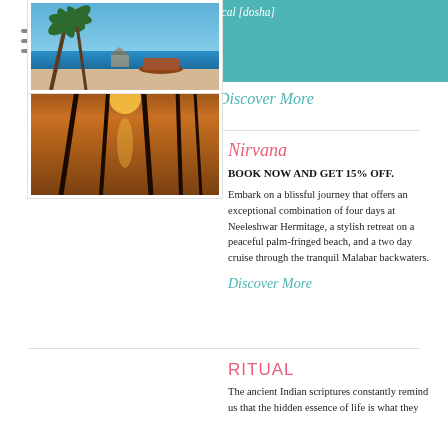and particular physiological [dosha] imbalances.
Discover More
[Figure (photo): Tropical beach sunset with palm tree silhouettes reflected in calm water at Neeleshwar Hermitage]
Nirvana
BOOK NOW AND GET 15% OFF.
Embark on a blissful journey that offers an exceptional combination of four days at Neeleshwar Hermitage, a stylish retreat on a peaceful palm-fringed beach, and a two day cruise through the tranquil Malabar backwaters.
Discover More
[Figure (photo): Tropical beach scene with palm trees leaning over turquoise water and boats on the beach]
RITUAL
The ancient Indian scriptures constantly remind us that the hidden essence of life is what they